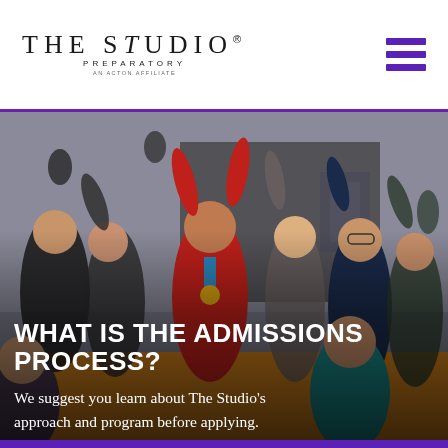[Figure (logo): The Studio Preparatory logo — serif wordmark 'THE STUDIO®' with subtitle 'PREPARATORY' and 'AN ACTON AFFILIATE']
[Figure (photo): Group of excited children and preteens celebrating with arms raised in a gymnasium, one girl wearing a medal in the center]
WHAT IS THE ADMISSIONS PROCESS?
We suggest you learn about The Studio's approach and program before applying.